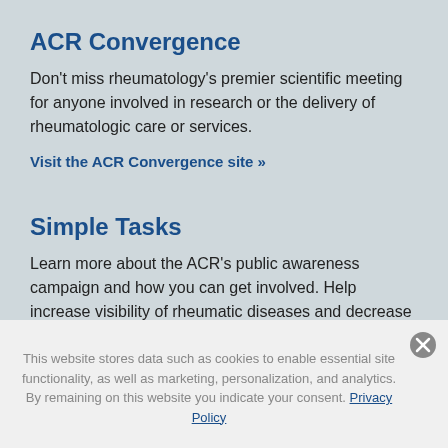ACR Convergence
Don't miss rheumatology's premier scientific meeting for anyone involved in research or the delivery of rheumatologic care or services.
Visit the ACR Convergence site »
Simple Tasks
Learn more about the ACR's public awareness campaign and how you can get involved. Help increase visibility of rheumatic diseases and decrease the number of people left untreated.
This website stores data such as cookies to enable essential site functionality, as well as marketing, personalization, and analytics. By remaining on this website you indicate your consent. Privacy Policy